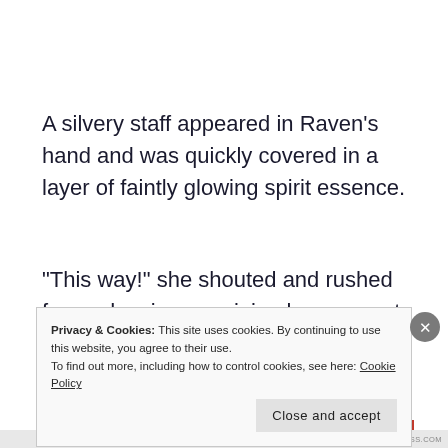A silvery staff appeared in Raven’s hand and was quickly covered in a layer of faintly glowing spirit essence.
“This way!” she shouted and rushed forward, using as minimal movements and spirit essence as possible to swat away the incoming snow
Privacy & Cookies: This site uses cookies. By continuing to use this website, you agree to their use.
To find out more, including how to control cookies, see here: Cookie Policy
Close and accept